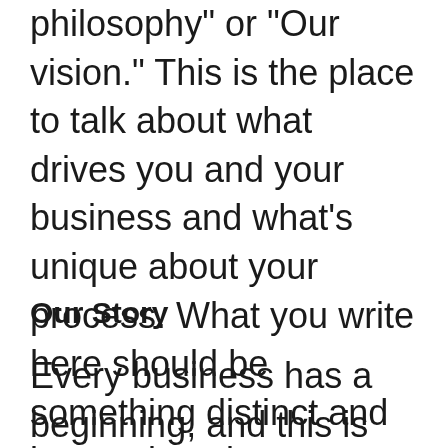You could also call this heading "Our philosophy" or "Our vision." This is the place to talk about what drives you and your business and what's unique about your process. What you write here should be something distinct and interesting about your business that sets it apart from others in the same industry.
Our Story
Every business has a beginning, and this is where you talk about yours. People want to know what opportunity you saw or how your